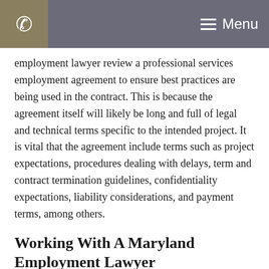Menu
employment lawyer review a professional services employment agreement to ensure best practices are being used in the contract. This is because the agreement itself will likely be long and full of legal and technical terms specific to the intended project. It is vital that the agreement include terms such as project expectations, procedures dealing with delays, term and contract termination guidelines, confidentiality expectations, liability considerations, and payment terms, among others.
Working With A Maryland Employment Lawyer
Whether you have been presented with an employment contract, are negotiating a small business contract, or are bound to a confidentiality agreement, you should contact an experienced Maryland attorney to review and/or litigate your matter to ensure your rights under the contract are protected.